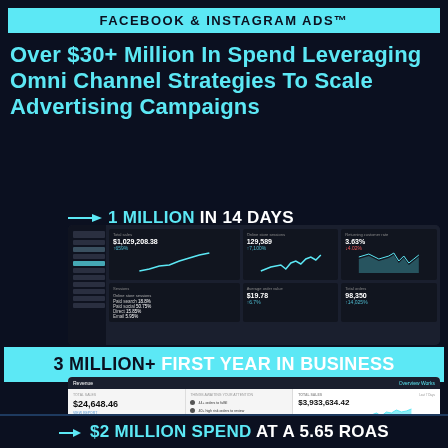FACEBOOK & INSTAGRAM ADS™
Over $30+ Million In Spend Leveraging Omni Channel Strategies To Scale Advertising Campaigns
1 MILLION IN 14 DAYS
[Figure (screenshot): Facebook Ads Manager dashboard screenshot showing total sales of $1,029,208.38, online store sessions 129,589, returning customer rate 3.63%, and line charts]
3 MILLION+ FIRST YEAR IN BUSINESS
[Figure (screenshot): Shopify analytics dashboard showing total sales $24,648.46, total orders 20,523, TOTAL SALES $3,933,634.42 with area chart, and TOTAL SALES BREAKDOWN by channel]
$2 MILLION SPEND AT A 5.65 ROAS